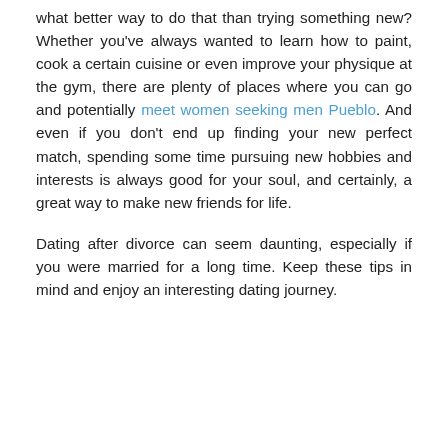what better way to do that than trying something new? Whether you've always wanted to learn how to paint, cook a certain cuisine or even improve your physique at the gym, there are plenty of places where you can go and potentially meet women seeking men Pueblo. And even if you don't end up finding your new perfect match, spending some time pursuing new hobbies and interests is always good for your soul, and certainly, a great way to make new friends for life.
Dating after divorce can seem daunting, especially if you were married for a long time. Keep these tips in mind and enjoy an interesting dating journey.